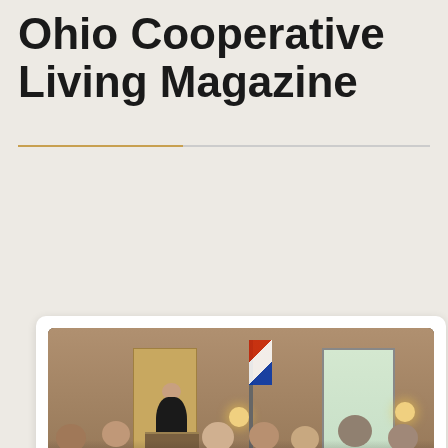Ohio Cooperative Living Magazine
[Figure (photo): A person speaking at a podium in a meeting room with an American flag, while an audience of approximately 20 people sits in chairs facing the speaker. Wall sconces provide ambient lighting.]
Cooperative Living
Select Language
Powered by Google Translate